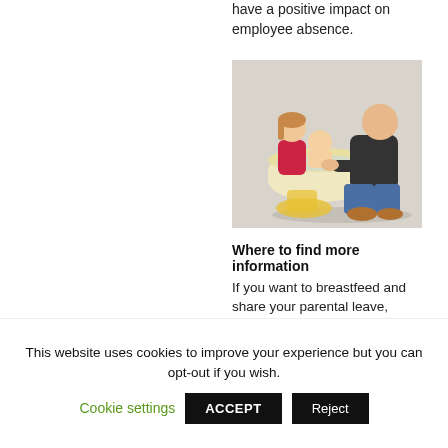have a positive impact on employee absence.
[Figure (photo): A man kneeling on the floor helping bathe a baby in a small tub, with a young girl beside him]
Where to find more information
If you want to breastfeed and share your parental leave, there is plenty of support available:
This website uses cookies to improve your experience but you can opt-out if you wish.